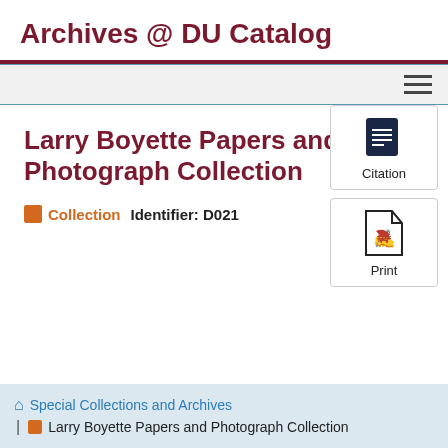Archives @ DU Catalog
Larry Boyette Papers and Photograph Collection
Collection   Identifier: D021
[Figure (screenshot): Citation button with book icon]
[Figure (screenshot): Print button with PDF icon]
Special Collections and Archives | Larry Boyette Papers and Photograph Collection